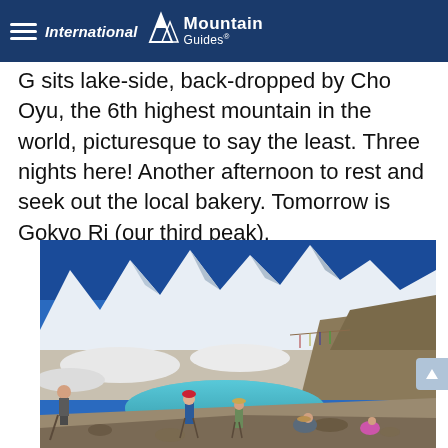International Mountain Guides
G sits lake-side, back-dropped by Cho Oyu, the 6th highest mountain in the world, picturesque to say the least. Three nights here! Another afternoon to rest and seek out the local bakery. Tomorrow is Gokyo Ri (our third peak).
[Figure (photo): Trekkers walking along a rocky glacial lake with snow-covered mountains in the background, including a peak resembling Cho Oyu area. A turquoise alpine lake sits in the foreground with several hikers resting or walking near its shore.]